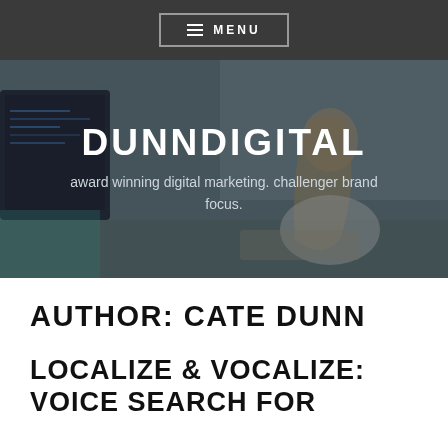≡ MENU
[Figure (photo): Woman working at a computer desk with monitors, used as a hero background image for DunnDigital website]
DUNNDIGITAL
award winning digital marketing. challenger brand focus.
AUTHOR: CATE DUNN
LOCALIZE & VOCALIZE: VOICE SEARCH FOR